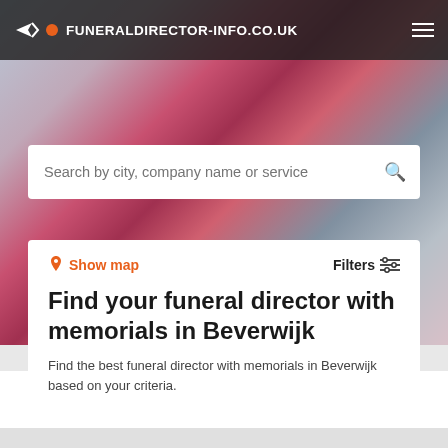FUNERALDIRECTOR-INFO.CO.UK
Search by city, company name or service
Show map
Filters
Find your funeral director with memorials in Beverwijk
Find the best funeral director with memorials in Beverwijk based on your criteria.
Add your company
It's free →